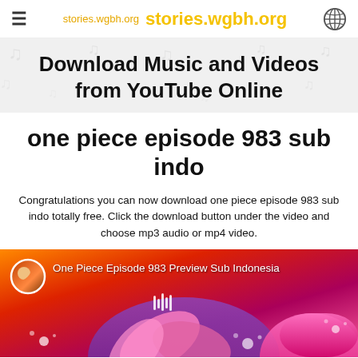stories.wgbh.org   stories.wgbh.org
Download Music and Videos from YouTube Online
one piece episode 983 sub indo
Congratulations you can now download one piece episode 983 sub indo totally free. Click the download button under the video and choose mp3 audio or mp4 video.
[Figure (screenshot): Video thumbnail for 'One Piece Episode 983 Preview Sub Indonesia' with anime artwork showing colorful characters. Avatar/channel icon in top-left corner, title text overlaid on image.]